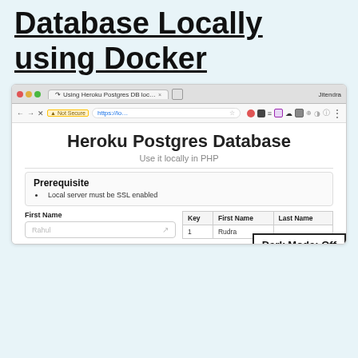Database Locally using Docker
[Figure (screenshot): Browser screenshot showing a web page titled 'Heroku Postgres Database - Use it locally in PHP', with a Prerequisite box listing 'Local server must be SSL enabled', a First Name form field with placeholder 'Rahul', and a table with columns Key, First Name, Last Name showing row 1 with 'Rudra'. A 'Dark Mode: Off' overlay appears in the bottom right of the browser.]